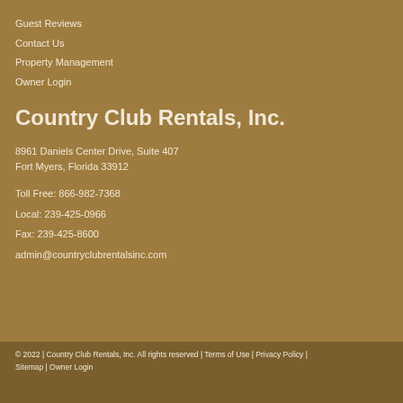Guest Reviews
Contact Us
Property Management
Owner Login
Country Club Rentals, Inc.
8961 Daniels Center Drive, Suite 407
Fort Myers, Florida 33912
Toll Free: 866-982-7368
Local: 239-425-0966
Fax: 239-425-8600
admin@countryclubrentalsinc.com
© 2022 | Country Club Rentals, Inc. All rights reserved | Terms of Use | Privacy Policy | Sitemap | Owner Login